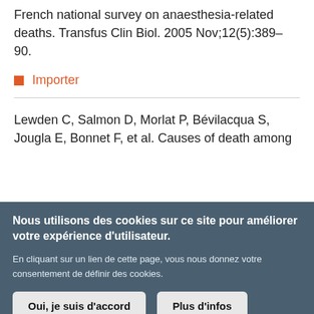French national survey on anaesthesia-related deaths. Transfus Clin Biol. 2005 Nov;12(5):389–90.
Importer
Lewden C, Salmon D, Morlat P, Bévilacqua S, Jougla E, Bonnet F, et al. Causes of death among
Nous utilisons des cookies sur ce site pour améliorer votre expérience d'utilisateur.

En cliquant sur un lien de cette page, vous nous donnez votre consentement de définir des cookies.

Oui, je suis d'accord  Plus d'infos
in   [Twitter bird]   f